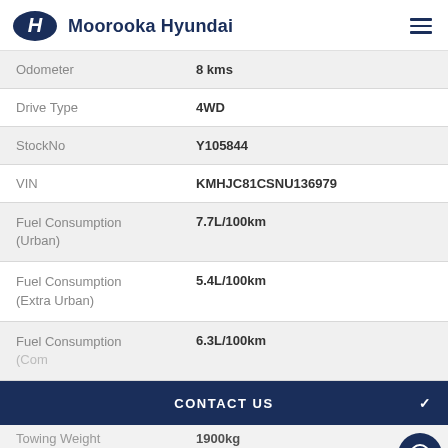Moorooka Hyundai
| Field | Value |
| --- | --- |
| Odometer | 8 kms |
| Drive Type | 4WD |
| StockNo | Y105844 |
| VIN | KMHJC81CSNU136979 |
| Fuel Consumption (Urban) | 7.7L/100km |
| Fuel Consumption (Extra Urban) | 5.4L/100km |
| Fuel Consumption (Combined) | 6.3L/100km |
| Towing Weight | 1900kg |
CONTACT US
FINANCE SCORE